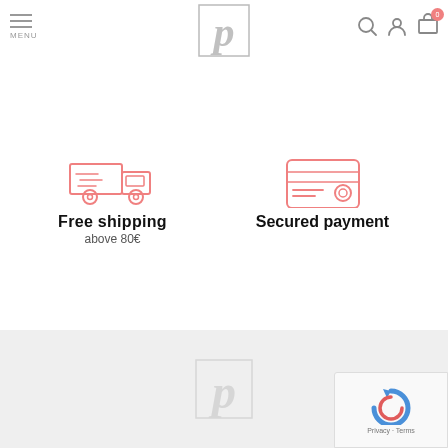MENU (navigation bar with logo, search, account, cart icons)
[Figure (illustration): Decorative gothic-style P letter logo in a square border, gray tones]
[Figure (illustration): Red/salmon colored delivery truck icon]
Free shipping
above 80€
[Figure (illustration): Red/salmon colored credit card / secured payment icon]
Secured payment
[Figure (illustration): Gray toned footer area with decorative P logo watermark and reCAPTCHA badge]